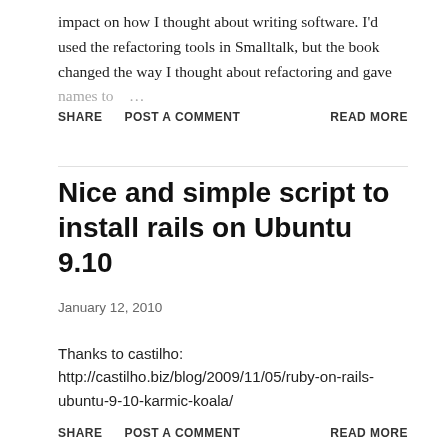impact on how I thought about writing software. I'd used the refactoring tools in Smalltalk, but the book changed the way I thought about refactoring and gave names to …
SHARE   POST A COMMENT   READ MORE
Nice and simple script to install rails on Ubuntu 9.10
January 12, 2010
Thanks to castilho:
http://castilho.biz/blog/2009/11/05/ruby-on-rails-ubuntu-9-10-karmic-koala/
SHARE   POST A COMMENT   READ MORE